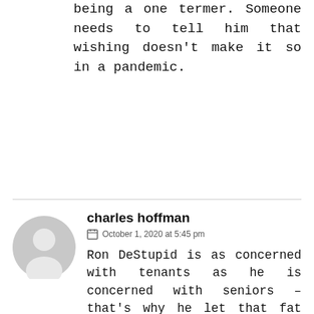being a one termer. Someone needs to tell him that wishing doesn't make it so in a pandemic.
charles hoffman
October 1, 2020 at 5:45 pm
Ron DeStupid is as concerned with tenants as he is concerned with seniors – that's why he let that fat traitor in the white house to determine florida's response to covid-19